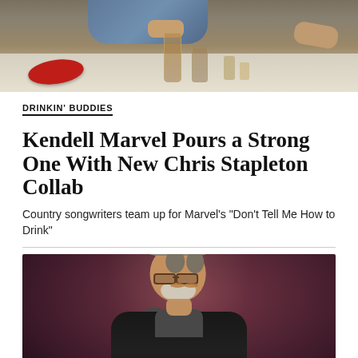[Figure (photo): Top-down view of people sitting at a table with drinks, glasses, and a red oval plate/tray visible on a light-colored surface]
DRINKIN' BUDDIES
Kendell Marvel Pours a Strong One With New Chris Stapleton Collab
Country songwriters team up for Marvel's "Don't Tell Me How to Drink"
[Figure (photo): A man with gray hair and glasses performing with a microphone in a dark venue with a reddish-brown background, smiling, wearing a dark jacket]